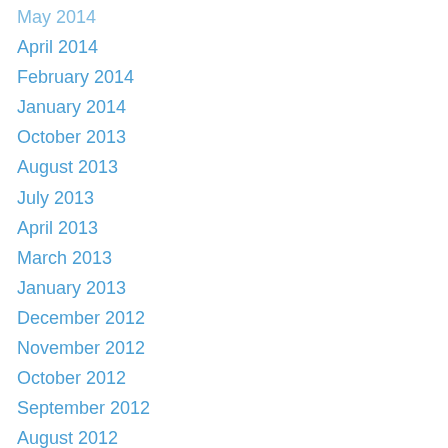May 2014
April 2014
February 2014
January 2014
October 2013
August 2013
July 2013
April 2013
March 2013
January 2013
December 2012
November 2012
October 2012
September 2012
August 2012
May 2012
April 2012
March 2012
February 2012
January 2012
December 2011